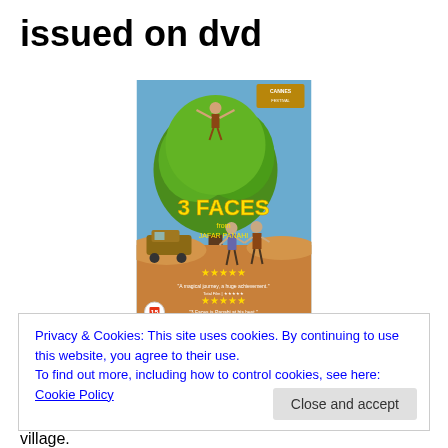issued on dvd
[Figure (photo): DVD cover of '3 Faces' (2018) - showing a large tree with a person on top, two figures standing below, a vehicle, desert landscape, and '3 FACES' text in yellow. Stars and review quotes at bottom.]
3 FACES (15) 2018 IRAN PANAHI, JAFAR £15.99
An actress receives a video of a young girl in distress,
Privacy & Cookies: This site uses cookies. By continuing to use this website, you agree to their use.
To find out more, including how to control cookies, see here: Cookie Policy
Close and accept
village.